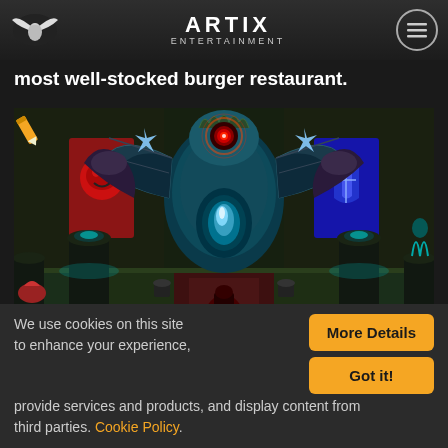ARTIX ENTERTAINMENT
most well-stocked burger restaurant.
[Figure (screenshot): Video game screenshot showing a large dragon-like boss creature with glowing red eye and teal/blue body, flanked by dark dragon minions, in a dungeon throne room setting. A small character stands at the bottom center. A pencil icon is visible in the upper left.]
We use cookies on this site to enhance your experience, provide services and products, and display content from third parties. Cookie Policy.